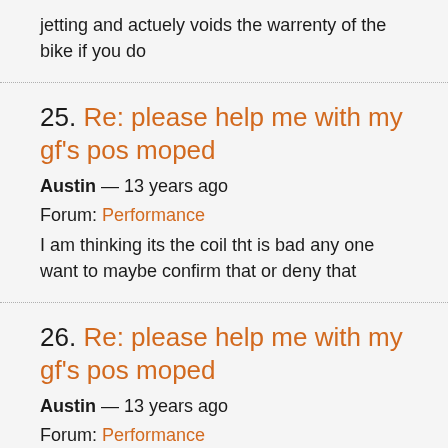jetting and actuely voids the warrenty of the bike if you do
25. Re: please help me with my gf's pos moped
Austin — 13 years ago
Forum: Performance
I am thinking its the coil tht is bad any one want to maybe confirm that or deny that
26. Re: please help me with my gf's pos moped
Austin — 13 years ago
Forum: Performance
this is the right forum since it has a new carb and boss